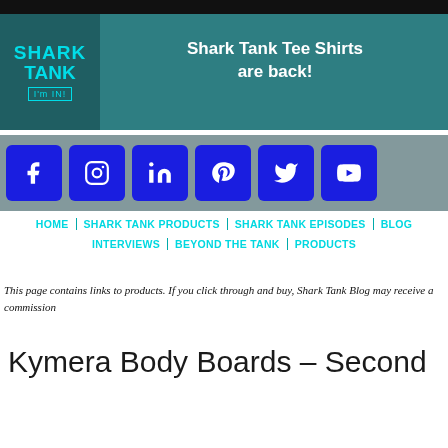Shark Tank Tee Shirts are back!
[Figure (logo): Shark Tank logo with SHARK TANK text and I'm IN! badge]
[Figure (infographic): Social media icons row: Facebook, Instagram, LinkedIn, Pinterest, Twitter, YouTube — all blue square buttons]
HOME | SHARK TANK PRODUCTS | SHARK TANK EPISODES | BLOG | INTERVIEWS | BEYOND THE TANK | PRODUCTS
This page contains links to products. If you click through and buy, Shark Tank Blog may receive a commission
Kymera Body Boards – Second